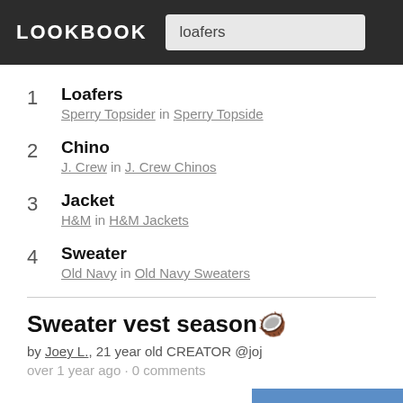LOOKBOOK — loafers
1 Loafers — Sperry Topsider in Sperry Topside
2 Chino — J. Crew in J. Crew Chinos
3 Jacket — H&M in H&M Jackets
4 Sweater — Old Navy in Old Navy Sweaters
Sweater vest season🧥
by Joey L., 21 year old CREATOR @joj
over 1 year ago · 0 comments
[Figure (photo): Blue image strip at bottom right]